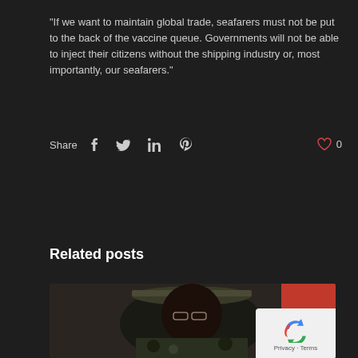"If we want to maintain global trade, seafarers must not be put to the back of the vaccine queue. Governments will not be able to inject their citizens without the shipping industry or, most importantly, our seafarers."
Share   [facebook] [twitter] [linkedin] [pinterest]   ♡ 0
Related posts
[Figure (photo): A man in military camouflage uniform and camouflage hat wearing glasses, seated in front of a flag with red and white stripes, looking to the side.]